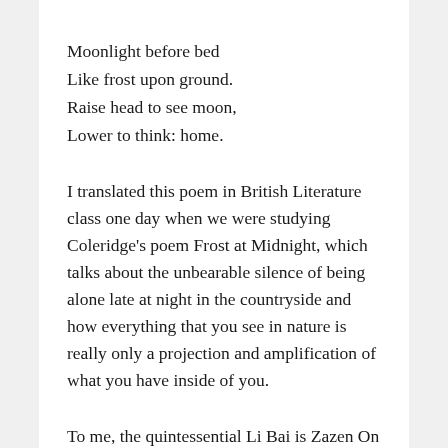Moonlight before bed
Like frost upon ground.
Raise head to see moon,
Lower to think: home.
I translated this poem in British Literature class one day when we were studying Coleridge’s poem Frost at Midnight, which talks about the unbearable silence of being alone late at night in the countryside and how everything that you see in nature is really only a projection and amplification of what you have inside of you.
To me, the quintessential Li Bai is Zazen On Ching-t’ing Mountain...